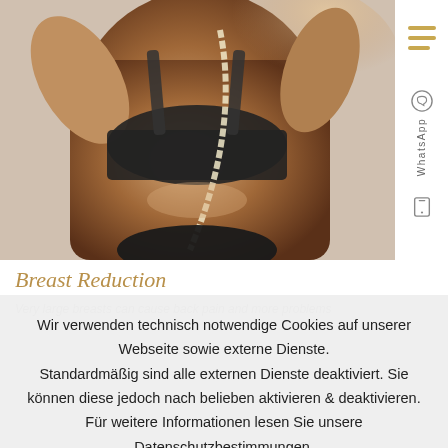[Figure (photo): Woman wearing black sports bra and bikini bottom with a white measuring tape, photographed from torso up against light background]
Breast Reduction
Very large breasts can cause back pain and more problems
Wir verwenden technisch notwendige Cookies auf unserer Webseite sowie externe Dienste. Standardmäßig sind alle externen Dienste deaktiviert. Sie können diese jedoch nach belieben aktivieren & deaktivieren. Für weitere Informationen lesen Sie unsere Datenschutzbestimmungen.
✓ Akzeptieren
Personalisieren